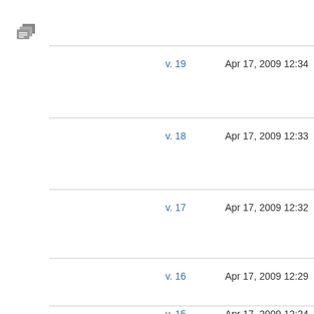[Figure (other): Small page/document icon in gray]
v. 19    Apr 17, 2009 12:34
v. 18    Apr 17, 2009 12:33
v. 17    Apr 17, 2009 12:32
v. 16    Apr 17, 2009 12:29
v. 15    Apr 17, 2009 12:24